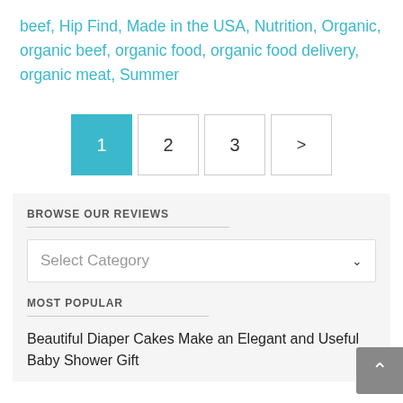beef, Hip Find, Made in the USA, Nutrition, Organic, organic beef, organic food, organic food delivery, organic meat, Summer
[Figure (other): Pagination control with buttons: 1 (active, teal), 2, 3, and a right arrow (next page)]
BROWSE OUR REVIEWS
Select Category
MOST POPULAR
Beautiful Diaper Cakes Make an Elegant and Useful Baby Shower Gift